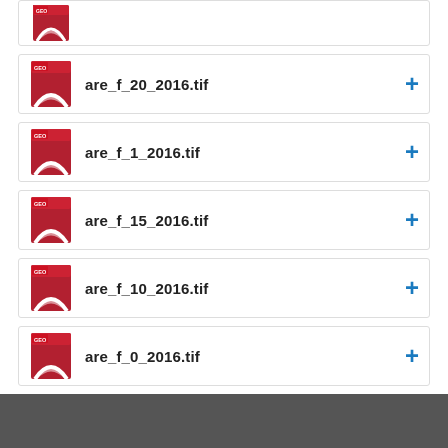[Figure (screenshot): Partial file row at the top showing a GEO tif file icon (cropped)]
are_f_20_2016.tif
are_f_1_2016.tif
are_f_15_2016.tif
are_f_10_2016.tif
are_f_0_2016.tif
You are viewing this page in HDX Lite (beta) - recommended for mobile and low bandwidth connections - switching can be done from the top-right menu
View this page as the full desktop site